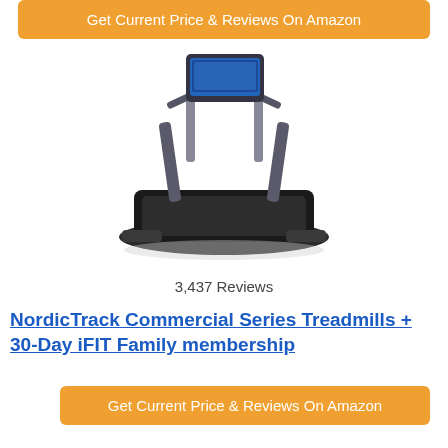Get Current Price & Reviews On Amazon
[Figure (photo): NordicTrack commercial treadmill with console and handlebars, shown at an angle on white background]
3,437 Reviews
NordicTrack Commercial Series Treadmills + 30-Day iFIT Family membership
Get Current Price & Reviews On Amazon